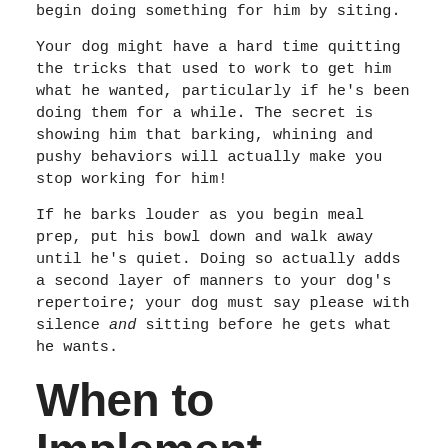begin doing something for him by siting.
Your dog might have a hard time quitting the tricks that used to work to get him what he wanted, particularly if he's been doing them for a while. The secret is showing him that barking, whining and pushy behaviors will actually make you stop working for him!
If he barks louder as you begin meal prep, put his bowl down and walk away until he's quiet. Doing so actually adds a second layer of manners to your dog's repertoire; your dog must say please with silence and sitting before he gets what he wants.
When to Implement the “Say Please” Program
There’s no limit to the situations where you can use